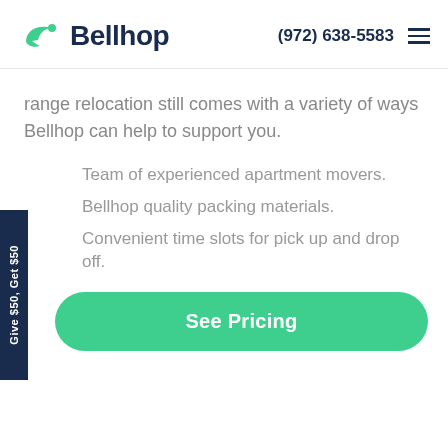[Figure (logo): Bellhop logo with green wing/hat icon and dark navy 'Bellhop' text]
(972) 638-5583
range relocation still comes with a variety of ways Bellhop can help to support you.
Team of experienced apartment movers.
Bellhop quality packing materials.
Convenient time slots for pick up and drop off.
Give $50, Get $50
See Pricing